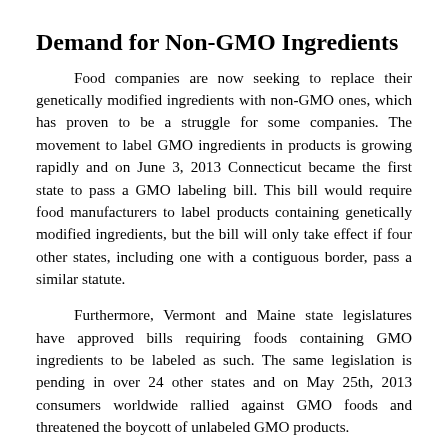Demand for Non-GMO Ingredients
Food companies are now seeking to replace their genetically modified ingredients with non-GMO ones, which has proven to be a struggle for some companies. The movement to label GMO ingredients in products is growing rapidly and on June 3, 2013 Connecticut became the first state to pass a GMO labeling bill. This bill would require food manufacturers to label products containing genetically modified ingredients, but the bill will only take effect if four other states, including one with a contiguous border, pass a similar statute.
Furthermore, Vermont and Maine state legislatures have approved bills requiring foods containing GMO ingredients to be labeled as such. The same legislation is pending in over 24 other states and on May 25th, 2013 consumers worldwide rallied against GMO foods and threatened the boycott of unlabeled GMO products.
Genetically modified foods are created by inserting genetic materials, sometimes from completely different plant species, bacteria, and viruses, straight into plants. Controversy remains about whether this is a health threat but consumers are